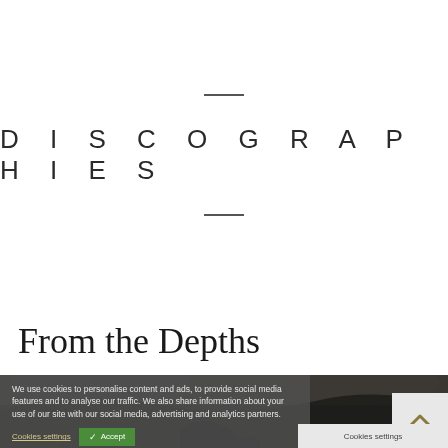DISCOGRAPHIES
From the Depths
[Figure (photo): Dark atmospheric image showing a cave or rocky landscape with silhouettes of trees and dark sky]
We use cookies to personalise content and ads, to provide social media features and to analyse our traffic. We also share information about your use of our site with our social media, advertising and analytics partners.
Cookies settings   ✓ Accept
Cookies settings